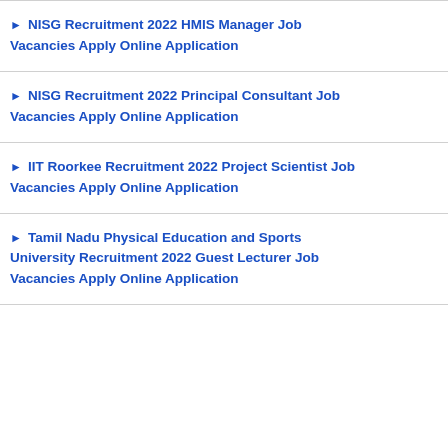NISG Recruitment 2022 HMIS Manager Job Vacancies Apply Online Application
NISG Recruitment 2022 Principal Consultant Job Vacancies Apply Online Application
IIT Roorkee Recruitment 2022 Project Scientist Job Vacancies Apply Online Application
Tamil Nadu Physical Education and Sports University Recruitment 2022 Guest Lecturer Job Vacancies Apply Online Application